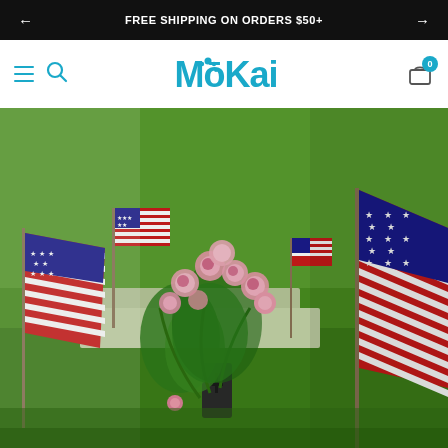FREE SHIPPING ON ORDERS $50+
[Figure (logo): MōKai pet brand logo in teal/blue bubble letters with paw print icon]
[Figure (photo): Memorial cemetery scene with American flags planted in green grass and a vase of pink carnation flowers in the center, with a large US flag prominently displayed on the right side]